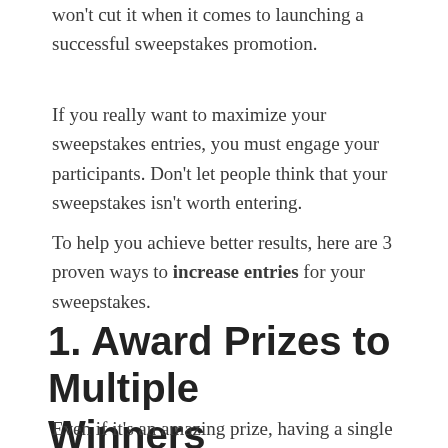won't cut it when it comes to launching a successful sweepstakes promotion.
If you really want to maximize your sweepstakes entries, you must engage your participants. Don't let people think that your sweepstakes isn't worth entering.
To help you achieve better results, here are 3 proven ways to increase entries for your sweepstakes.
1. Award Prizes to Multiple Winners
Even if it's an amazing prize, having a single prize makes consumers feel like the odds of winning are so low that